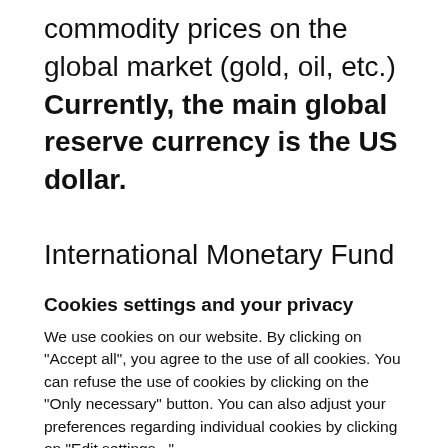commodity prices on the global market (gold, oil, etc.) Currently, the main global reserve currency is the US dollar.
International Monetary Fund (IMF) data on
Cookies settings and your privacy
We use cookies on our website. By clicking on "Accept all", you agree to the use of all cookies. You can refuse the use of cookies by clicking on the "Only necessary" button. You can also adjust your preferences regarding individual cookies by clicking on "Edit settings..."
Accept all
Edit settings...
Only necessary